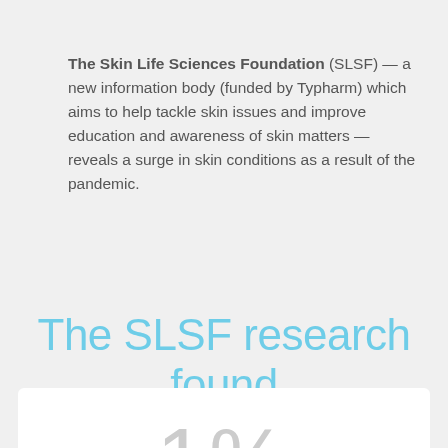The Skin Life Sciences Foundation (SLSF) — a new information body (funded by Typharm) which aims to help tackle skin issues and improve education and awareness of skin matters — reveals a surge in skin conditions as a result of the pandemic.
The SLSF research found
1%